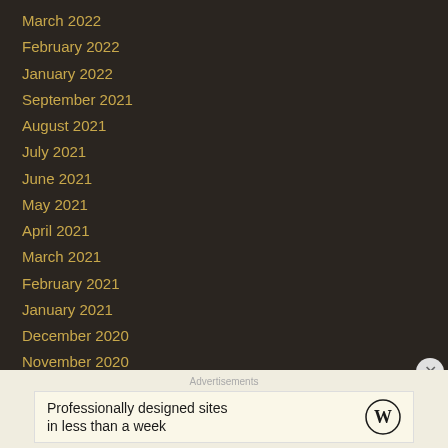March 2022
February 2022
January 2022
September 2021
August 2021
July 2021
June 2021
May 2021
April 2021
March 2021
February 2021
January 2021
December 2020
November 2020
October 2020
September 2020
August 2020
Advertisements
Professionally designed sites in less than a week